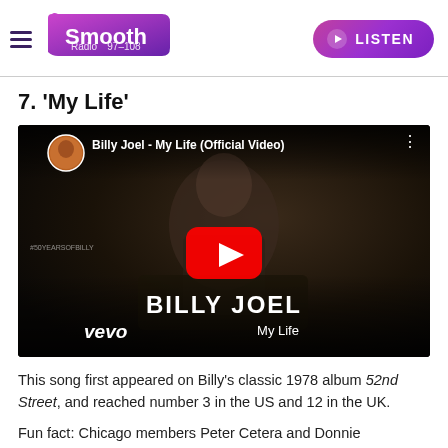Smooth Radio 97-108 | LISTEN
7. 'My Life'
[Figure (screenshot): YouTube video thumbnail for Billy Joel - My Life (Official Video) on VEVO, showing Billy Joel singing at a piano in black and white, with a large red YouTube play button in the center.]
This song first appeared on Billy's classic 1978 album 52nd Street, and reached number 3 in the US and 12 in the UK.
Fun fact: Chicago members Peter Cetera and Donnie